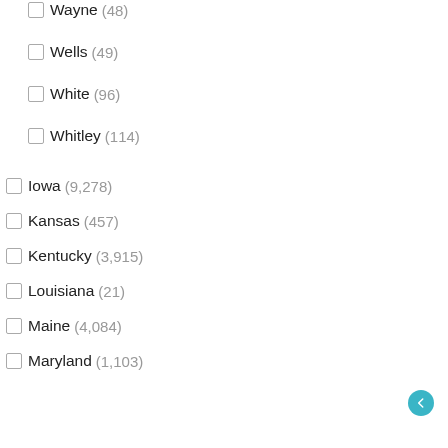Wayne (48)
Wells (49)
White (96)
Whitley (114)
Iowa (9,278)
Kansas (457)
Kentucky (3,915)
Louisiana (21)
Maine (4,084)
Maryland (1,103)
Massachusetts (116)
Michigan (6,145)
Minnesota (8,464)
Mississippi (20)
Missouri (2,899)
Nebraska (476)
New Hampshire (194)
New Jersey (292)
New Mexico (...)